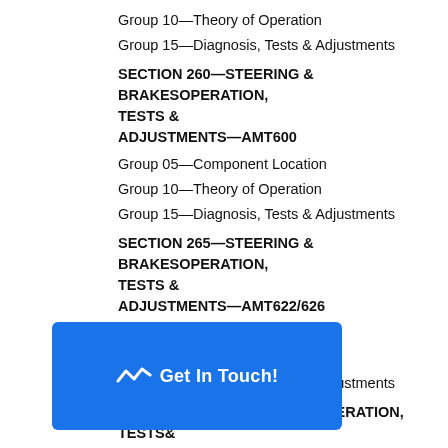Group 10—Theory of Operation
Group 15—Diagnosis, Tests & Adjustments
SECTION 260—STEERING & BRAKESOPERATION, TESTS & ADJUSTMENTS—AMT600
Group 05—Component Location
Group 10—Theory of Operation
Group 15—Diagnosis, Tests & Adjustments
SECTION 265—STEERING & BRAKESOPERATION, TESTS & ADJUSTMENTS—AMT622/626
Group 05—Component Location
Group 10—Theory of Operation
Group 15—Diagnosis, Tests & Adjustments
SECTION 270—HYDRAULIC OPERATION, TESTS& ADJUSTMENTS
Group 05—Component Location
Group 10—Theory of Operation
Group 15—Diagnosis, Tests & Adjustments
Group 20—Hydraulic Schematic